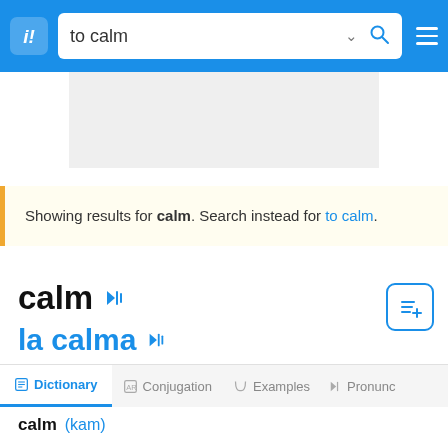to calm
Showing results for calm. Search instead for to calm.
calm
la calma
Dictionary  Conjugation  Examples  Pronunc
calm (kam)